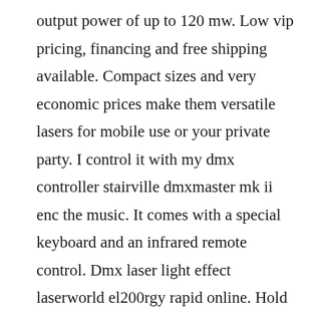output power of up to 120 mw. Low vip pricing, financing and free shipping available. Compact sizes and very economic prices make them versatile lasers for mobile use or your private party. I control it with my dmx controller stairville dmxmaster mk ii enc the music. It comes with a special keyboard and an infrared remote control. Dmx laser light effect laserworld el200rgy rapid online. Hold the red led very close to a sheet of paper, so that it makes a small angle with the paper. Laserworld manual ecoline series el200g